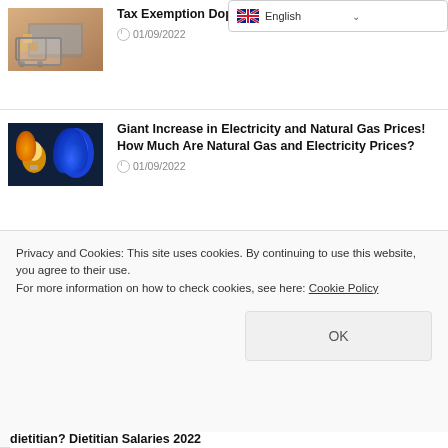[Figure (screenshot): Language selector dropdown showing English with UK flag]
[Figure (photo): Shopping cart with small boxes on desk - thumbnail for Tax Exemption article]
Tax Exemption Do...
01/09/2022
[Figure (photo): Lightbulb and blue gas flame - thumbnail for electricity and natural gas article]
Giant Increase in Electricity and Natural Gas Prices! How Much Are Natural Gas and Electricity Prices?
01/09/2022
[Figure (photo): Hand pointing at calculator/keyboard - thumbnail for Credit Configuration article]
What is Credit Configuration? How is it calculated? How is Credit Configuration Made?
23/08/2022
Privacy and Cookies: This site uses cookies. By continuing to use this website, you agree to their use.
For more information on how to check cookies, see here: Cookie Policy
OK
dietitian? Dietitian Salaries 2022